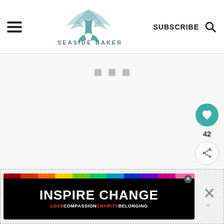[Figure (logo): Seaside Baker logo with teal mermaid tail and feather design, text reading SEASIDE BAKER]
SUBSCRIBE
[Figure (other): Loading spinner - three small grey squares indicating content loading]
[Figure (other): Floating heart button in teal circle with count 42 below, and share button below that]
[Figure (other): Ad banner: INSPIRE CHANGE with rainbow top bar and text LOVE COMPASSION CHARITY BELONGING on black background]